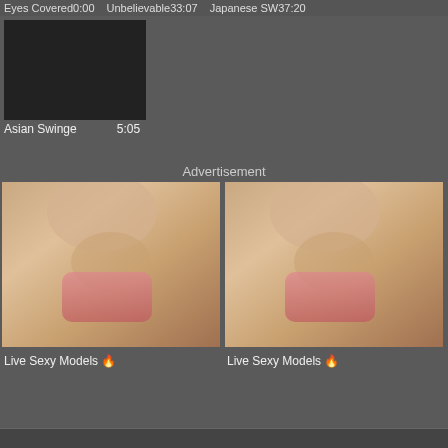Eyes Covered  0:00  Unbelievable  33:07  Japanese SW  37:20
[Figure (screenshot): Dark/black video thumbnail placeholder]
Asian Swinge  5:05
Advertisement
[Figure (photo): Live Sexy Models advertisement photo left]
Live Sexy Models 🔥
[Figure (photo): Live Sexy Models advertisement photo right]
Live Sexy Models 🔥